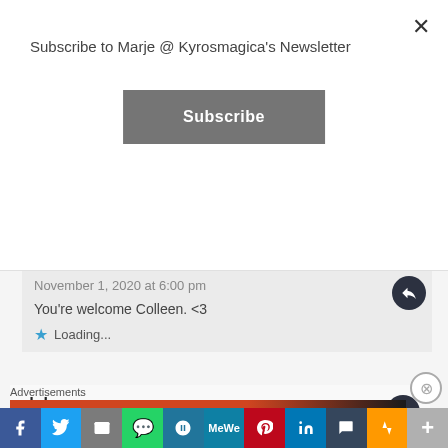Subscribe to Marje @ Kyrosmagica's Newsletter
Subscribe
November 1, 2020 at 6:00 pm
You're welcome Colleen. <3
Loading...
dgkaye
November 3, 2020 at 2:37 am
Congrats Sisters! ❤️
Advertisements
Search, browse, and email